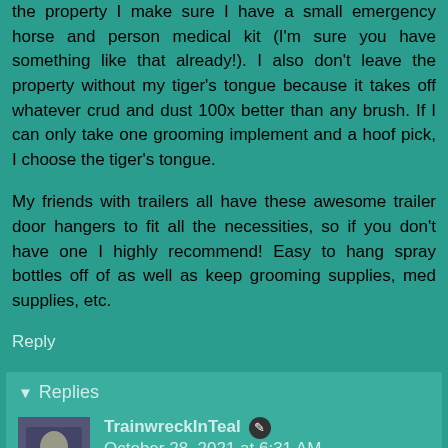the property I make sure I have a small emergency horse and person medical kit (I'm sure you have something like that already!). I also don't leave the property without my tiger's tongue because it takes off whatever crud and dust 100x better than any brush. If I can only take one grooming implement and a hoof pick, I choose the tiger's tongue.
My friends with trailers all have these awesome trailer door hangers to fit all the necessities, so if you don't have one I highly recommend! Easy to hang spray bottles off of as well as keep grooming supplies, med supplies, etc.
Reply
Replies
TrainwreckInTeal  October 28, 2021 at 6:31 AM
Emergency kit, check, tiger's tongue, check 😁
I've seen those trailer door hangers and they're super handy, but my tack room has a separate but integrated screen door. So I can't hang